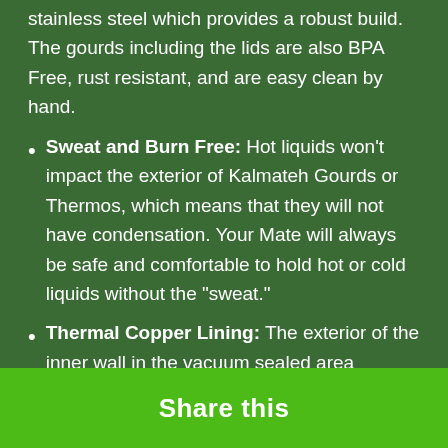stainless steel which provides a robust build. The gourds including the lids are also BPA Free, rust resistant, and are easy clean by hand.
Sweat and Burn Free: Hot liquids won't impact the exterior of Kalmateh Gourds or Thermos, which means that they will not have condensation. Your Mate will always be safe and comfortable to hold hot or cold liquids without the "sweat."
Thermal Copper Lining: The exterior of the inner wall in the vacuum sealed area contains copper for added insulation. Copper is added so it reduces the transfer of temperature, adding even more insulation to your Mate Gourd and Thermos.
Share this